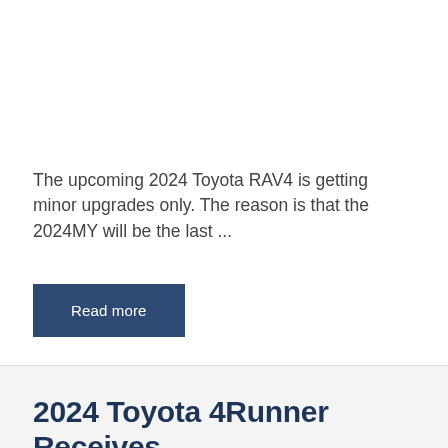The upcoming 2024 Toyota RAV4 is getting minor upgrades only. The reason is that the 2024MY will be the last ...
Read more
2024 Toyota 4Runner Receives